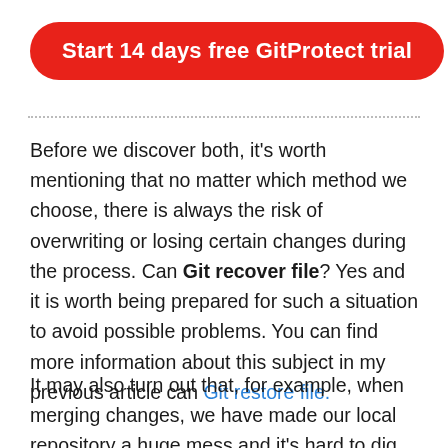[Figure (other): Red rounded button with white text: Start 14 days free GitProtect trial]
Before we discover both, it's worth mentioning that no matter which method we choose, there is always the risk of overwriting or losing certain changes during the process. Can Git recover file? Yes and it is worth being prepared for such a situation to avoid possible problems. You can find more information about this subject in my previous article can Git restore file.
It may also turn out that, for example, when merging changes, we have made our local repository a huge mess and it's hard to dig out of it. Then Git can quite easily